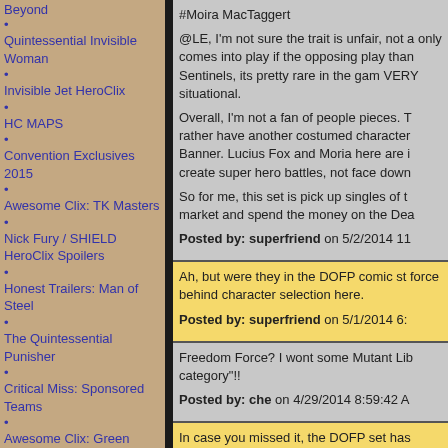Beyond
Quintessential Invisible Woman
Invisible Jet HeroClix
HC MAPS
Convention Exclusives 2015
Awesome Clix: TK Masters
Nick Fury / SHIELD HeroClix Spoilers
Honest Trailers: Man of Steel
The Quintessential Punisher
Critical Miss: Sponsored Teams
Awesome Clix: Green Arrow
Man of Steel: How It Should Have Ended
Hiro Clix: Sailor Scouts
Awesome Clix: Taskmaster
The Quintessential V for Vendetta
Awesome Clix: Thor
ClixCraves: Buffy TVS
15 HeroClix Sets We Want
#Moira MacTaggert
@LE, I'm not sure the trait is unfair, not a only comes into play if the opposing play than Sentinels, its pretty rare in the gam VERY situational.

Overall, I'm not a fan of people pieces. T rather have another costumed character Banner. Lucius Fox and Moria here are i create super hero battles, not face down

So for me, this set is pick up singles of t market and spend the money on the Dea
Posted by: superfriend on 5/2/2014 11
Ah, but were they in the DOFP comic st force behind character selection here.
Posted by: superfriend on 5/1/2014 6:
Freedom Force? I wont some Mutant Lib category"!!
Posted by: che on 4/29/2014 8:59:42 A
In case you missed it, the DOFP set has